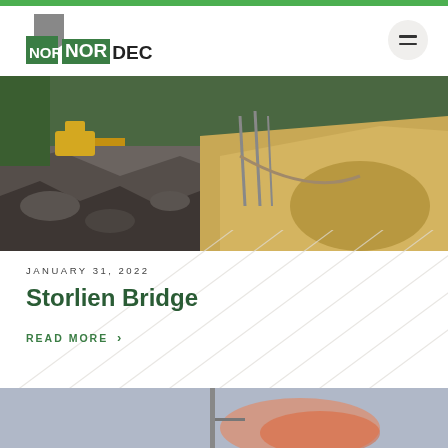[Figure (logo): Nordec company logo with green square containing NOR in white and DEC in black text, with grey arrow shape]
[Figure (photo): Construction site photo showing excavated rocky terrain with construction equipment and sandy embankment, related to Storlien Bridge project]
JANUARY 31, 2022
Storlien Bridge
READ MORE ›
[Figure (photo): Partial bottom photo showing a tall structure or pole against a dusky sky with orange/pink tones]